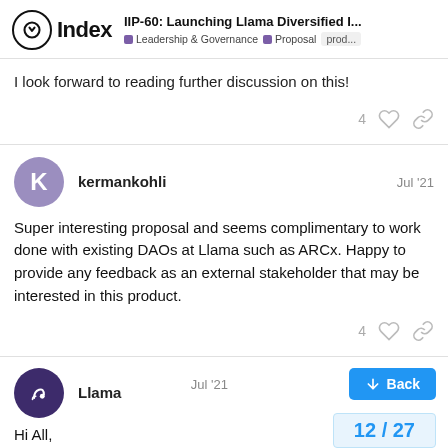IIP-60: Launching Llama Diversified I... | Leadership & Governance | Proposal | prod...
I look forward to reading further discussion on this!
kermankohli  Jul '21
Super interesting proposal and seems complimentary to work done with existing DAOs at Llama such as ARCx. Happy to provide any feedback as an external stakeholder that may be interested in this product.
Llama  Jul '21
Hi All,
Back
12 / 27